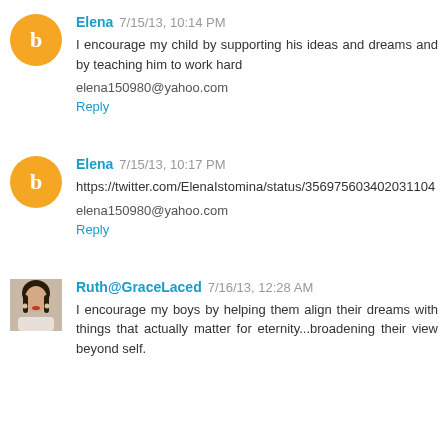Elena 7/15/13, 10:14 PM
I encourage my child by supporting his ideas and dreams and by teaching him to work hard
elena150980@yahoo.com
Reply
Elena 7/15/13, 10:17 PM
https://twitter.com/ElenaIstomina/status/356975603402031104
elena150980@yahoo.com
Reply
Ruth@GraceLaced 7/16/13, 12:28 AM
I encourage my boys by helping them align their dreams with things that actually matter for eternity...broadening their view beyond self.